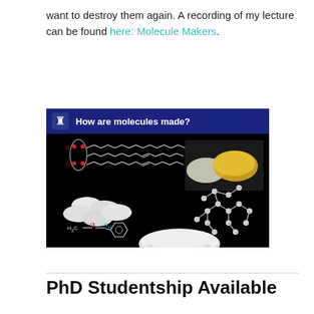want to destroy them again. A recording of my lecture can be found here: Molecule Makers.
[Figure (screenshot): Lecture slide screenshot titled 'How are molecules made?' showing chemical structures (fatty acid/lipid structure, acetanilide), images of butter/margarine, white tablets/pills, white powder (likely salt or plastic pellets), and a molecular model structure, all on a dark/black background with a dark blue header bar.]
PhD Studentship Available